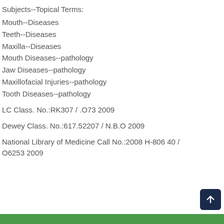Subjects--Topical Terms:
Mouth--Diseases
Teeth--Diseases
Maxilla--Diseases
Mouth Diseases--pathology
Jaw Diseases--pathology
Maxillofacial Injuries--pathology
Tooth Diseases--pathology
LC Class. No.:RK307 / .O73 2009
Dewey Class. No.:617.52207 / N.B.O 2009
National Library of Medicine Call No.:2008 H-806 40 / O6253 2009